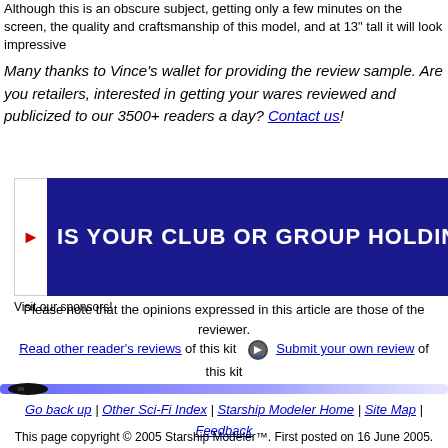Although this is an obscure subject, getting only a few minutes on the screen, the quality and craftsmanship of this model, and at 13" tall it will look impressive
Many thanks to Vince's wallet for providing the review sample. Are you retailers, interested in getting your wares reviewed and publicized to our 3500+ readers a day? Contact us!
[Figure (other): Blue banner advertisement reading IS YOUR CLUB OR GROUP HOLDING AN with white bold text on dark blue background, with a small navigation arrow on left side]
Visit our sponsors!
Please note that the opinions expressed in this article are those of the reviewer.
Read other reader's reviews of this kit   Submit your own review of this kit
[Figure (other): Horizontal decorative divider bar with blue gradient and dark bullet/arrow shape on left]
Go back up | Other Sci-Fi Index | Starship Modeler Home | Site Map | Feedback
This page copyright © 2005 Starship Modeler™. First posted on 16 June 2005.